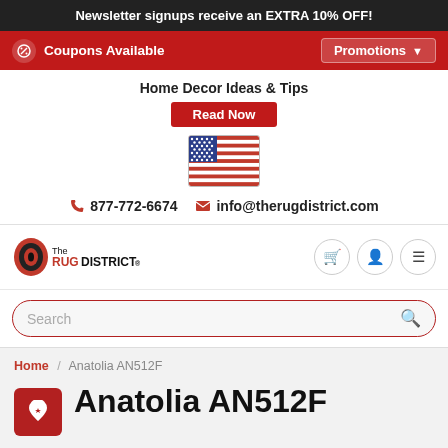Newsletter signups receive an EXTRA 10% OFF!
Coupons Available   Promotions
Home Decor Ideas & Tips
Read Now
[Figure (illustration): US flag icon]
877-772-6674   info@therugdistrict.com
[Figure (logo): The Rug District logo with rolled rug icon]
Search
Home / Anatolia AN512F
Anatolia AN512F